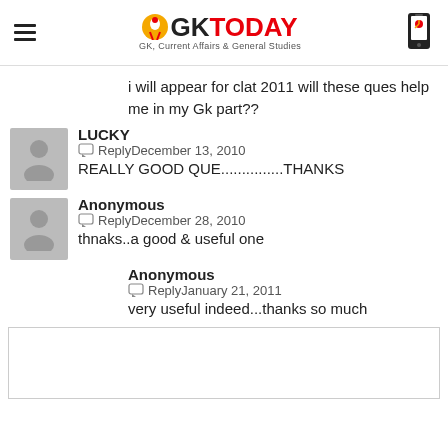GK TODAY - GK, Current Affairs & General Studies
i will appear for clat 2011 will these ques help me in my Gk part??
LUCKY
Reply December 13, 2010
REALLY GOOD QUE...............THANKS
Anonymous
Reply December 28, 2010
thnaks..a good & useful one
Anonymous
Reply January 21, 2011
very useful indeed...thanks so much